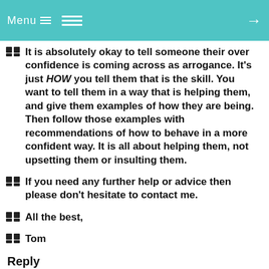Menu
It is absolutely okay to tell someone their over confidence is coming across as arrogance. It's just HOW you tell them that is the skill. You want to tell them in a way that is helping them, and give them examples of how they are being. Then follow those examples with recommendations of how to behave in a more confident way. It is all about helping them, not upsetting them or insulting them.
If you need any further help or advice then please don't hesitate to contact me.
All the best,
Tom
Reply